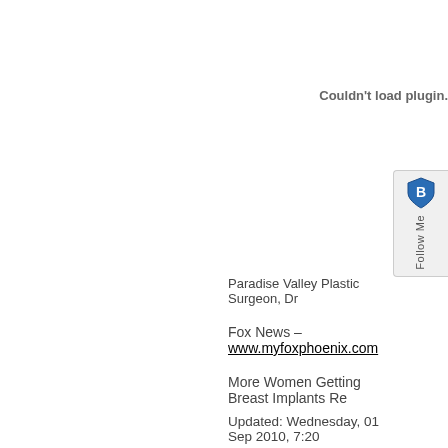Couldn't load plugin.
[Figure (other): Follow Me social widget with shield/badge icon]
Paradise Valley Plastic Surgeon, Dr
Fox News – www.myfoxphoenix.com
More Women Getting Breast Implants Re
Updated: Wednesday, 01 Sep 2010, 7:20
Published : Wednesday, 01 Sep 2010, 7:1